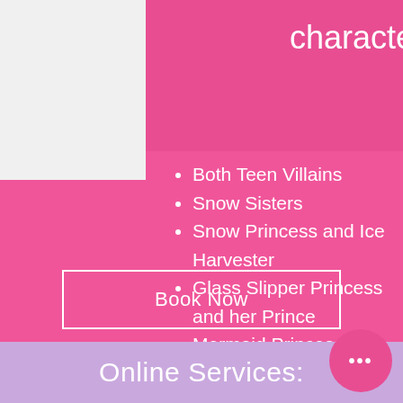character combos!
Both Teen Villains
Snow Sisters
Snow Princess and Ice Harvester
Glass Slipper Princess and her Prince
Mermaid Princess and her Prince
Arabian Princess and Prince
Enchanted Rose Princess and Prince
Fashion Doll and Friends
Book Now
Online Services: